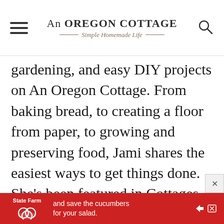An OREGON COTTAGE — Simple Homemade Life —
gardening, and easy DIY projects on An Oregon Cottage. From baking bread, to creating a floor from paper, to growing and preserving food, Jami shares the easiest ways to get things done. She's been featured in Cottages and Bungalows, Old House Journal, and First for Women magazines as well as numerous sites like Good Housekeeping, Huffington Post, and Apartment Therapy.
[Figure (other): State Farm advertisement banner with red background: State Farm logo with text 'and save the cucumbers for your salad.']